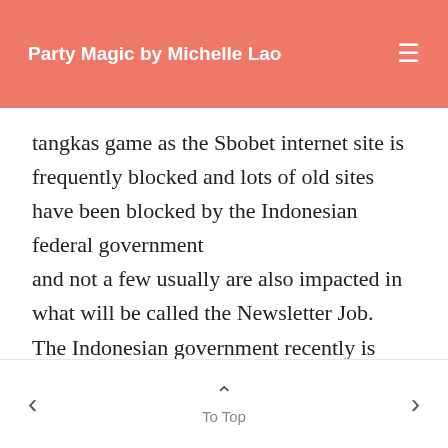Party Magic by Michelle Lao
tangkas game as the Sbobet internet site is frequently blocked and lots of old sites have been blocked by the Indonesian federal government and not a few usually are also impacted in what will be called the Newsletter Job. The Indonesian government recently is struggling to eradicate links or paths to get into sites that smell associated with pornography,
< ^ To Top >